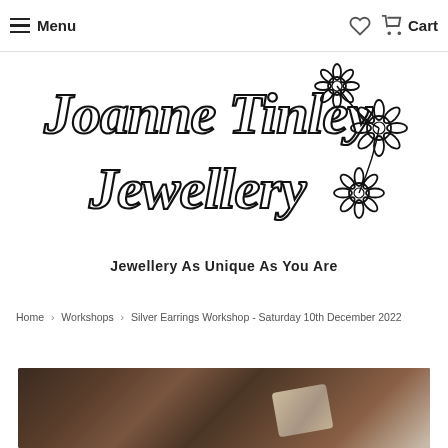Menu | Cart
[Figure (logo): Joanne Tinley Jewellery handwritten logo with daisy flowers]
Jewellery As Unique As You Are
Home › Workshops › Silver Earrings Workshop - Saturday 10th December 2022
[Figure (photo): Photo of jewellery-making tools on a dark wooden workbench, partially visible]